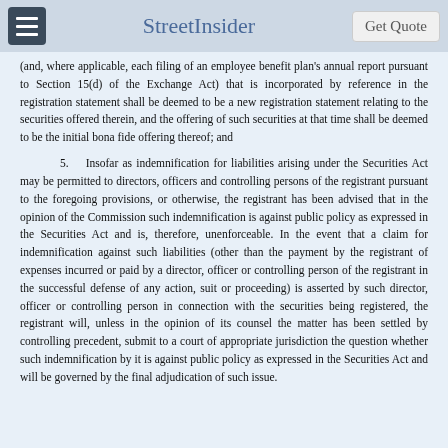StreetInsider | Get Quote
(and, where applicable, each filing of an employee benefit plan's annual report pursuant to Section 15(d) of the Exchange Act) that is incorporated by reference in the registration statement shall be deemed to be a new registration statement relating to the securities offered therein, and the offering of such securities at that time shall be deemed to be the initial bona fide offering thereof; and
5.    Insofar as indemnification for liabilities arising under the Securities Act may be permitted to directors, officers and controlling persons of the registrant pursuant to the foregoing provisions, or otherwise, the registrant has been advised that in the opinion of the Commission such indemnification is against public policy as expressed in the Securities Act and is, therefore, unenforceable. In the event that a claim for indemnification against such liabilities (other than the payment by the registrant of expenses incurred or paid by a director, officer or controlling person of the registrant in the successful defense of any action, suit or proceeding) is asserted by such director, officer or controlling person in connection with the securities being registered, the registrant will, unless in the opinion of its counsel the matter has been settled by controlling precedent, submit to a court of appropriate jurisdiction the question whether such indemnification by it is against public policy as expressed in the Securities Act and will be governed by the final adjudication of such issue.